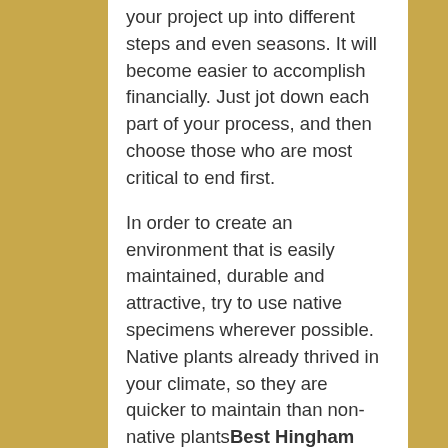your project up into different steps and even seasons. It will become easier to accomplish financially. Just jot down each part of your process, and then choose those who are most critical to end first.

In order to create an environment that is easily maintained, durable and attractive, try to use native specimens wherever possible. Native plants already thrived in your climate, so they are quicker to maintain than non-native plantsBest Hingham Landscapers Local plants are also adapted for your local rainfall so that they will need less watering, and therefore, will reduce your water bill.

Everything you have just found out about listed here are the essentials in landscaping